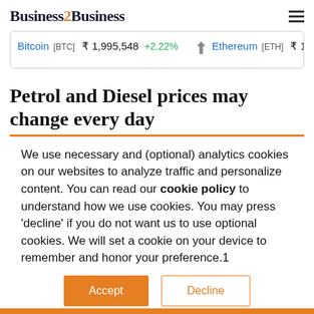Business2Business
Bitcoin [BTC] ₹ 1,995,548 +2.22% ◇ Ethereum [ETH] ₹ 156,834 +4...
Petrol and Diesel prices may change every day
We use necessary and (optional) analytics cookies on our websites to analyze traffic and personalize content. You can read our cookie policy to understand how we use cookies. You may press 'decline' if you do not want us to use optional cookies. We will set a cookie on your device to remember and honor your preference.1
Accept | Decline